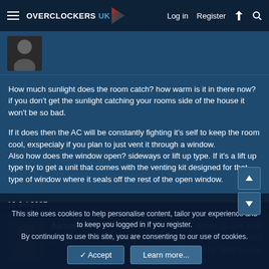Overclockers UK — Log in  Register
[Figure (photo): Partial avatar image at top of post, partially cropped]
How much sunlight does the room catch? how warm is it in there now? if you don't get the sunlight catching your rooms side of the house it won't be so bad.

If it does then the AC will be constantly fighting it's self to keep the room cool, exspecialy if you plan to just vent it through a window.
Also how does the window open? sideways or lift up type. If it's a lift up type try to get a unit that comes with the venting kit designed for that type of window where it seals off the rest of the open window.
16 Jul 2007  #8
[Figure (photo): Avatar photo of user furnace]
furnace  Soldato  OP  Joined: 12 Dec 2006  Posts: 3,421  Location: Worthing, West Sussex
This site uses cookies to help personalise content, tailor your experience and to keep you logged in if you register.
By continuing to use this site, you are consenting to our use of cookies.